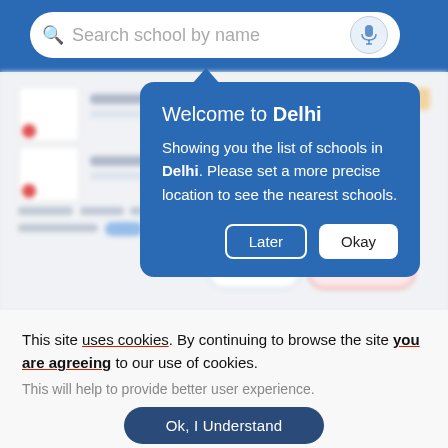[Figure (screenshot): Mobile app screenshot showing a school search interface with a blue header containing a search bar labeled 'Search school by name' with a microphone icon. A blue tooltip/popup dialog is shown with the title 'Welcome to Delhi' and body text 'Showing you the list of schools in Delhi. Please set a more precise location to see the nearest schools.' with two buttons: 'Later' and 'Okay'. The background shows blurred app content.]
This site uses cookies. By continuing to browse the site you are agreeing to our use of cookies.
This will help to provide better user experience.
Ok, I Understand